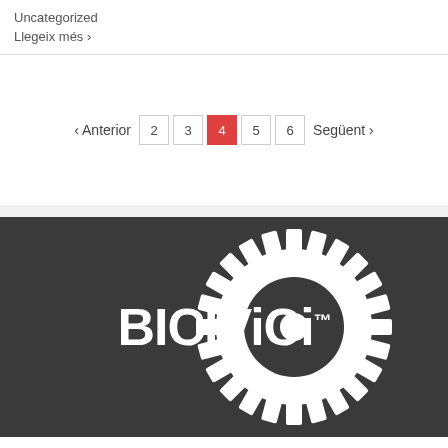Uncategorized
Llegeix més ›
‹ Anterior  2  3  4  5  6  Següent ›
[Figure (logo): BICIViCi logo with trademark symbol and gear wheel graphic on dark background]